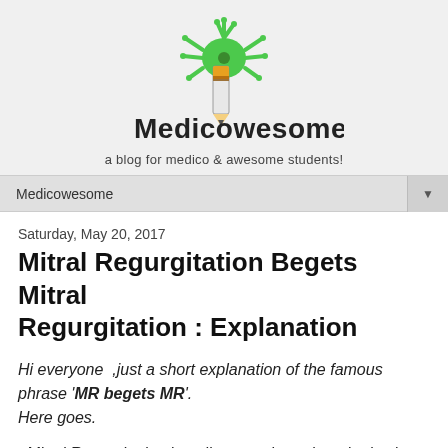[Figure (logo): Medicowesome logo: green neuron/splat shape above a pencil with orange eraser top, with stylized text 'Medicowesome' and tagline 'a blog for medico & awesome students!']
Medicowesome
Saturday, May 20, 2017
Mitral Regurgitation Begets Mitral Regurgitation : Explanation
Hi everyone ,just a short explanation of the famous phrase 'MR begets MR'. Here goes.
- Mitral Regurgitation is a disease where the mitral valve is incompetent or insufficient and leaks or pukes when it should be shut. (Rather like a blithering idiot who keeps